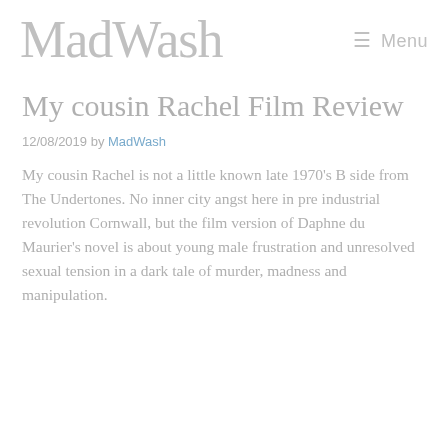MadWash  ☰ Menu
My cousin Rachel Film Review
12/08/2019 by MadWash
My cousin Rachel is not a little known late 1970's B side from The Undertones. No inner city angst here in pre industrial revolution Cornwall, but the film version of Daphne du Maurier's novel is about young male frustration and unresolved sexual tension in a dark tale of murder, madness and manipulation.